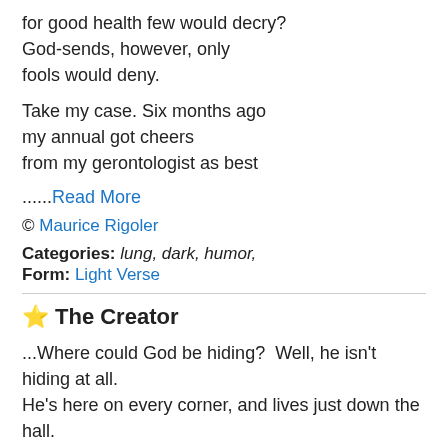for good health few would decry?
God-sends, however, only
fools would deny.

Take my case. Six months ago
my annual got cheers
from my gerontologist as best
......Read More
© Maurice Rigoler
Categories: lung, dark, humor,
Form: Light Verse
The Creator
...Where could God be hiding?  Well, he isn't hiding at all.
He's here on every corner, and lives just down the hall.

He watched while you were born, and helped to keep you fed.
Most won't feel his......Read More
© Mark Koplin
Categories: lung, god,
Form: Couplet